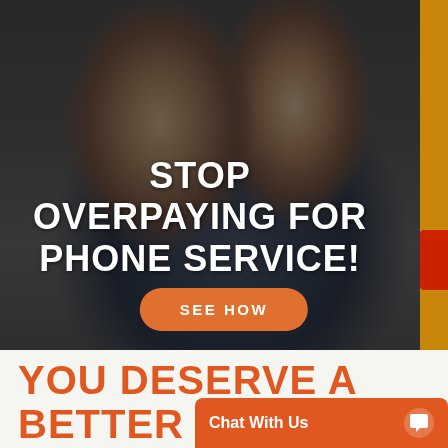[Figure (photo): A smiling couple (woman with blonde hair and a man in a denim shirt) looking at a smartphone together, with a dark overlay on the background image.]
STOP OVERPAYING FOR PHONE SERVICE!
SEE HOW
YOU DESERVE A BETTER
Chat With Us